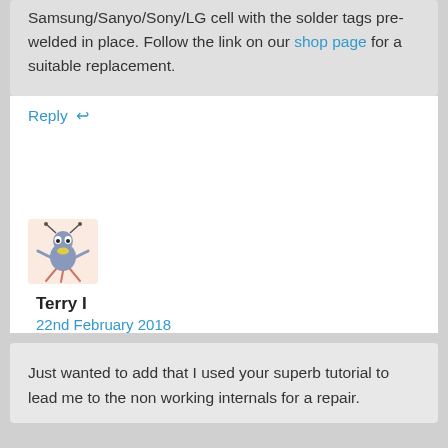Samsung/Sanyo/Sony/LG cell with the solder tags pre-welded in place. Follow the link on our shop page for a suitable replacement.
Reply ↩
[Figure (illustration): Avatar image of a cartoon bug/ant character with antennae, holding something yellow, drawn in a retro style on a light peach background]
Terry I
22nd February 2018
Just wanted to add that I used your superb tutorial to lead me to the non working internals for a repair.